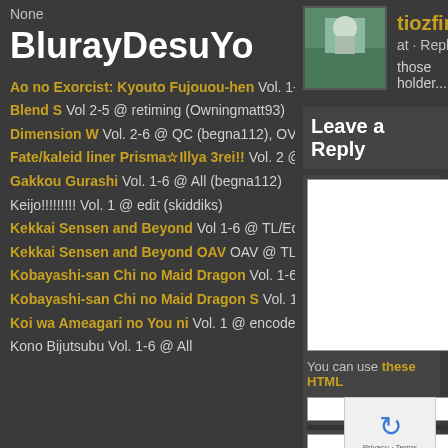None
BlurayDesuYo
Ao no Exorcist: Kyouto Fujouou-hen Vol. 1-6 @ Batch (Period)
Blend S Vol 2-5 @ retiming (Owningmatt93)
Dimension W Vol. 2-6 @ QC (begna112), OVA @ Edit (begna112)
Fate/kaleid liner Prisma☆Illya 3rei!! Vol. 2 @ TM,TS,QC, TM (SP2) (all Period)
Gakkou Gurashi Vol. 1-6 @ All (begna112)
Keijo!!!!!!!!! Vol. 1 @ edit (skiddiks)
Kekkai Sensen and Beyond Vol 1-6 @ TL/Edit (Sei), Vol. 6 @ encode (begna112)
Kekkai Sensen and Beyond OAV OAV @ TL (Sei)
Kobayashi-san Chi no Maid Dragon Vol. 1-6 @ QC (Nazaki)
Kobayashi-san Chi no Maid Dragon S Vol. 1-6 @ QC (Nazaki)
Koi wa Ameagari no You ni Vol. 1 @ encode (Saeval)
Kono Bijutsubu Vol. 1-6 @ All
tiozfire at · Reply
those holder....!!!
Leave a Reply
You can use these HTML
published) (req...